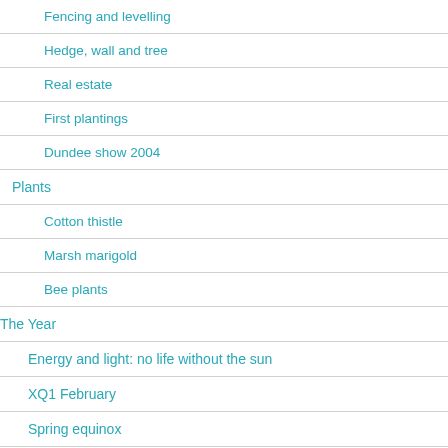Fencing and levelling
Hedge, wall and tree
Real estate
First plantings
Dundee show 2004
Plants
Cotton thistle
Marsh marigold
Bee plants
The Year
Energy and light: no life without the sun
XQ1 February
Spring equinox